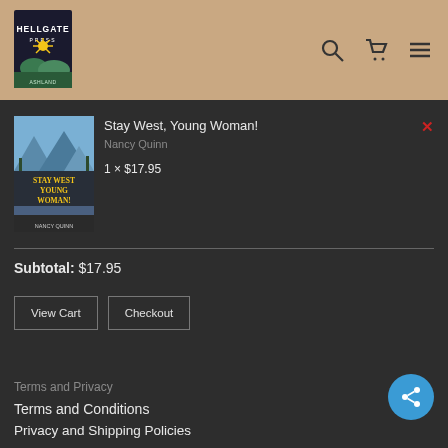[Figure (logo): Hellgate Press logo — yellow sunburst with stylized text on dark background]
[Figure (screenshot): Shopping cart widget on dark background showing book 'Stay West, Young Woman!' by Nancy Quinn, quantity 1 x $17.95, with View Cart and Checkout buttons]
Stay West, Young Woman!
Nancy Quinn
1 × $17.95
Subtotal: $17.95
View Cart
Checkout
Terms and Privacy
Terms and Conditions
Privacy and Shipping Policies